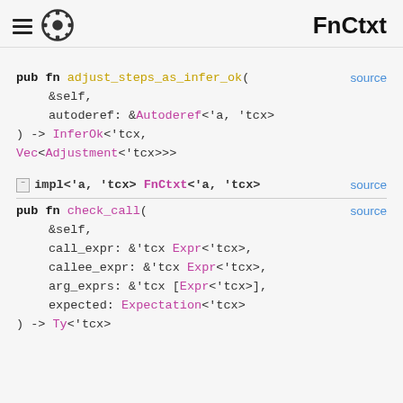FnCtxt
pub fn adjust_steps_as_infer_ok(
    &self,
    autoderef: &Autoderef<'a, 'tcx>
) -> InferOk<'tcx,
Vec<Adjustment<'tcx>>>
[-] impl<'a, 'tcx> FnCtxt<'a, 'tcx>  source
pub fn check_call(
    &self,
    call_expr: &'tcx Expr<'tcx>,
    callee_expr: &'tcx Expr<'tcx>,
    arg_exprs: &'tcx [Expr<'tcx>],
    expected: Expectation<'tcx>
) -> Ty<'tcx>